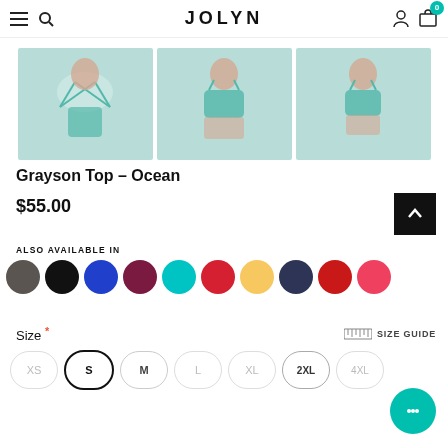JOLYN
[Figure (photo): Three product photos of the Grayson Top in Ocean (teal/green color): back view showing criss-cross straps, front view, and side/three-quarter view on female models.]
Grayson Top – Ocean
$55.00
ALSO AVAILABLE IN
[Figure (infographic): Row of 10 color swatches (circles): dark gray, black, cobalt blue, burgundy/wine, cyan/turquoise, red, golden yellow, navy, red (darker), coral/pink-red.]
Size *
SIZE GUIDE
XS  S  M  L  XL  2XL  4XL